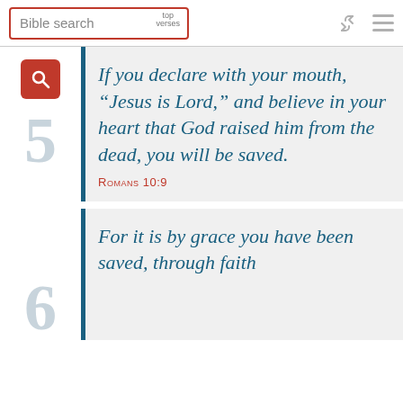Bible search | top verses
5 | If you declare with your mouth, "Jesus is Lord," and believe in your heart that God raised him from the dead, you will be saved. Romans 10:9
6 | For it is by grace you have been saved, through faith